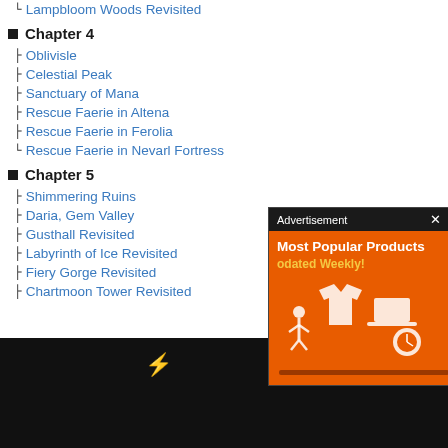└ Lampbloom Woods Revisited
■ Chapter 4
├ Oblivisle
├ Celestial Peak
├ Sanctuary of Mana
├ Rescue Faerie in Altena
├ Rescue Faerie in Ferolia
└ Rescue Faerie in Nevarl Fortress
■ Chapter 5
├ Shimmering Ruins
├ Daria, Gem Valley
├ Gusthall Revisited
├ Labyrinth of Ice Revisited
├ Fiery Gorge Revisited
├ Chartmoon Tower Revisited
[Figure (screenshot): Advertisement overlay showing 'Most Popular Products Updated Weekly!' on orange background with white product icons]